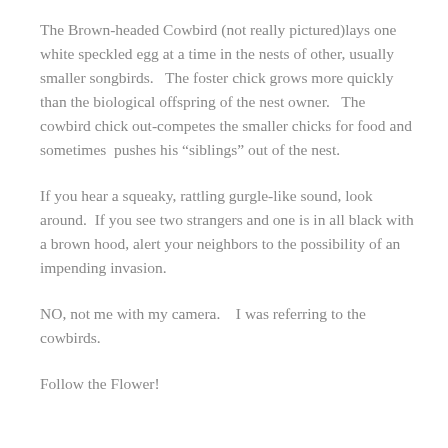The Brown-headed Cowbird (not really pictured)lays one white speckled egg at a time in the nests of other, usually smaller songbirds.   The foster chick grows more quickly than the biological offspring of the nest owner.   The cowbird chick out-competes the smaller chicks for food and sometimes  pushes his “siblings” out of the nest.
If you hear a squeaky, rattling gurgle-like sound, look  around.  If you see two strangers and one is in all black with a brown hood, alert your neighbors to the possibility of an impending invasion.
NO, not me with my camera.    I was referring to the cowbirds.
Follow the Flower!